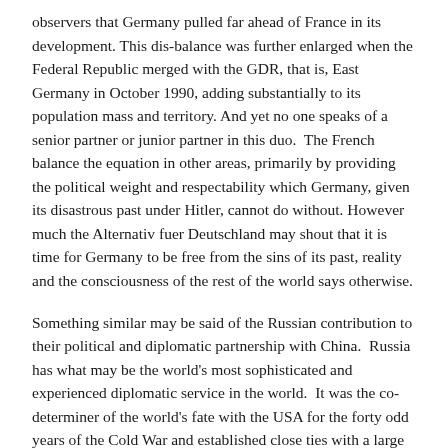observers that Germany pulled far ahead of France in its development. This dis-balance was further enlarged when the Federal Republic merged with the GDR, that is, East Germany in October 1990, adding substantially to its population mass and territory. And yet no one speaks of a senior partner or junior partner in this duo.  The French balance the equation in other areas, primarily by providing the political weight and respectability which Germany, given its disastrous past under Hitler, cannot do without. However much the Alternativ fuer Deutschland may shout that it is time for Germany to be free from the sins of its past, reality and the consciousness of the rest of the world says otherwise.
Something similar may be said of the Russian contribution to their political and diplomatic partnership with China.  Russia has what may be the world's most sophisticated and experienced diplomatic service in the world.  It was the co-determiner of the world's fate with the USA for the forty odd years of the Cold War and established close ties with a large